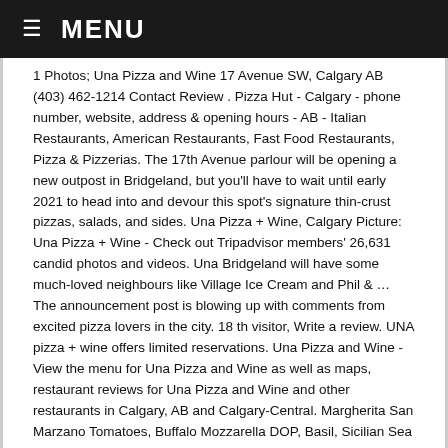MENU
1 Photos; Una Pizza and Wine 17 Avenue SW, Calgary AB (403) 462-1214 Contact Review . Pizza Hut - Calgary - phone number, website, address & opening hours - AB - Italian Restaurants, American Restaurants, Fast Food Restaurants, Pizza & Pizzerias. The 17th Avenue parlour will be opening a new outpost in Bridgeland, but you'll have to wait until early 2021 to head into and devour this spot's signature thin-crust pizzas, salads, and sides. Una Pizza + Wine, Calgary Picture: Una Pizza + Wine - Check out Tripadvisor members' 26,631 candid photos and videos. Una Bridgeland will have some much-loved neighbours like Village Ice Cream and Phil & … The announcement post is blowing up with comments from excited pizza lovers in the city. 18 th visitor, Write a review. UNA pizza + wine offers limited reservations. Una Pizza and Wine - View the menu for Una Pizza and Wine as well as maps, restaurant reviews for Una Pizza and Wine and other restaurants in Calgary, AB and Calgary-Central. Margherita San Marzano Tomatoes, Buffalo Mozzarella DOP, Basil, Sicilian Sea Salt, EVO. HOME â▯▯â▯▯â▯▯â▯▯ Una Pizza + Wine 0 17th Avenue SW, Calgary, AB (403) 453-1183 Contact